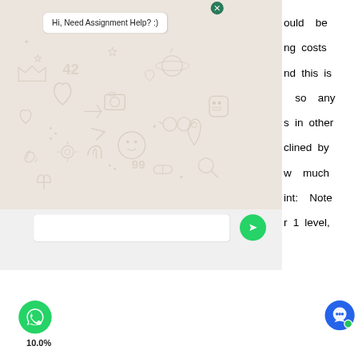[Figure (screenshot): WhatsApp chat overlay popup with message bubble saying 'Hi, Need Assignment Help? :)' over a beige doodle background, with a text input area and green send button]
ould be
ng costs
nd this is
, so any
s in other
clined by
w much
int: Note
r 1 level,
[Figure (logo): WhatsApp green circular icon at bottom left with percentage label 10.0%]
10.0%
[Figure (logo): Blue circular chat/messaging icon at bottom right with green dot indicator]